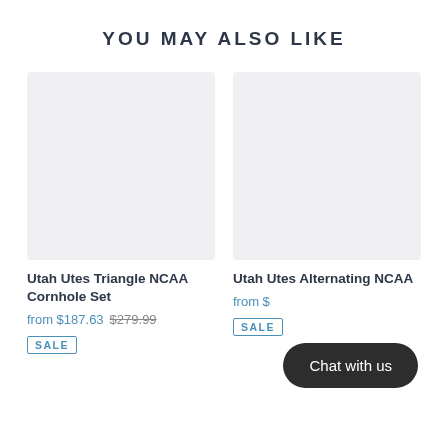YOU MAY ALSO LIKE
[Figure (other): Empty product image placeholder for Utah Utes Triangle NCAA Cornhole Set]
Utah Utes Triangle NCAA Cornhole Set
from $187.63  $279.99
SALE
[Figure (other): Empty product image placeholder for Utah Utes Alternating NCAA product]
Utah Utes Alternating NCAA
from $
SALE
Chat with us